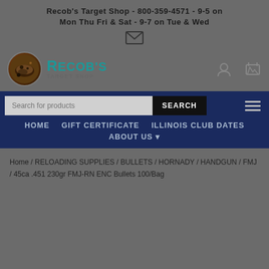Recob's Target Shop - 800-359-4571 - 9-5 on Mon Thu Fri & Sat - 9-7 on Tue & Wed
[Figure (logo): Recob's Target Shop logo with circular emblem and teal text]
HOME   GIFT CERTIFICATE   ILLINOIS CLUB DATES   ABOUT US
Home / RELOADING SUPPLIES / BULLETS / HORNADY / HANDGUN / FMJ / 45ca .451 230gr FMJ-RN ENC Bullets 100/Bag